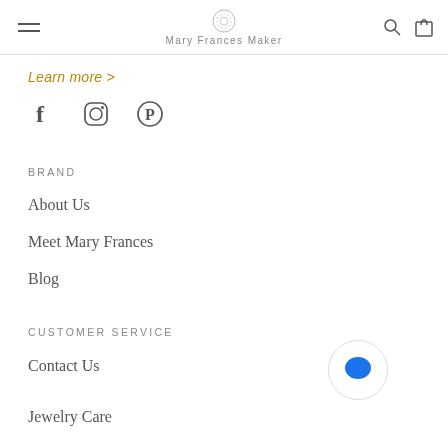Mary Frances Maker
Learn more >
[Figure (illustration): Social media icons: Facebook (f), Instagram (circle with rounded square inside), Pinterest (P in circle)]
BRAND
About Us
Meet Mary Frances
Blog
CUSTOMER SERVICE
Contact Us
[Figure (illustration): Blue chat bubble icon inside a white circle with light border]
Jewelry Care